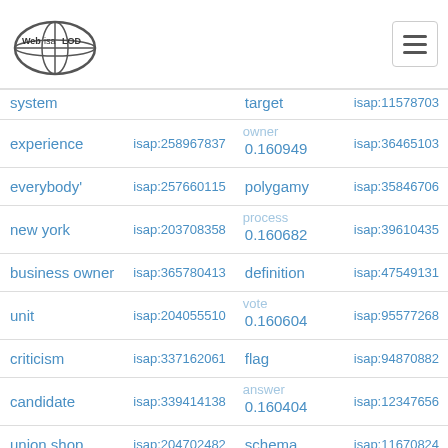[Figure (logo): Web isa LOD globe logo]
| term | isap id | term/value | isap id |
| --- | --- | --- | --- |
| system |  | target | isap:11578703 |
| experience | isap:258967837 | owner / 0.160949 | isap:36465103 |
| everybody' | isap:257660115 | polygamy | isap:35846706 |
| new york | isap:203708358 | process / 0.160682 | isap:39610435 |
| business owner | isap:365780413 | definition | isap:47549131 |
| unit | isap:204055510 | vote / 0.160604 | isap:95577268 |
| criticism | isap:337162061 | flag | isap:94870882 |
| candidate | isap:339414138 | answer / 0.160404 | isap:12347656 |
| union shop | isap:204702482 | schema | isap:11670824 |
| replica | isap:222136813 | have / 0.160140 | isap:85358849 |
| skill | isap:374626511 | some | isap:88681631 |